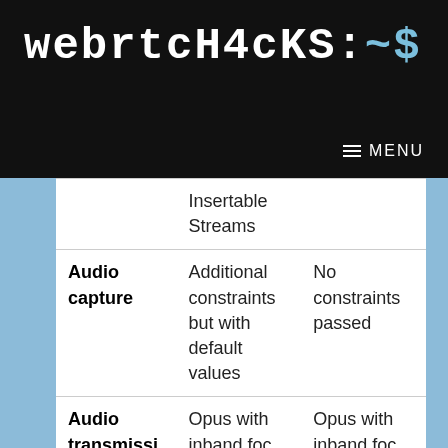webrtcH4cKS:~$
|  |  |  |
| --- | --- | --- |
|  | Insertable Streams |  |
| Audio capture | Additional constraints but with default values | No constraints passed |
| Audio transmissi... | Opus with inband foc... | Opus with inband foc... |